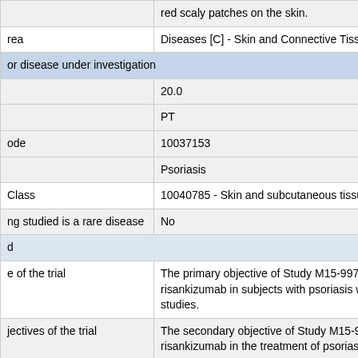|  | red scaly patches on the skin. |
| rea | Diseases [C] - Skin and Connective Tissu |
| or disease under investigation |  |
|  | 20.0 |
|  | PT |
| ode | 10037153 |
|  | Psoriasis |
| Class | 10040785 - Skin and subcutaneous tissue |
| ng studied is a rare disease | No |
| d |  |
| e of the trial | The primary objective of Study M15-997 risankizumab in subjects with psoriasis w studies. |
| jectives of the trial | The secondary objective of Study M15-9 risankizumab in the treatment of psoriasi |